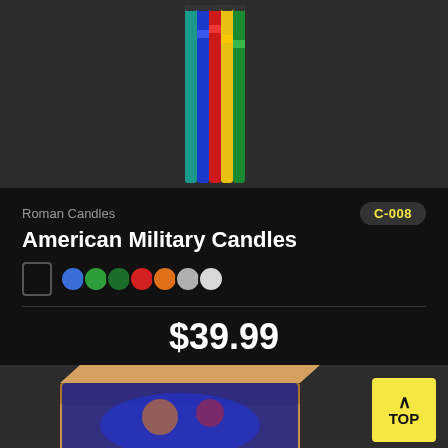[Figure (photo): Colorful Roman candle fireworks sticks bundled together, with red, yellow, green, and blue printed tubes, shown against a dark gray background.]
Roman Candles
C-008
American Military Candles
$39.99
Add to Favorites
[Figure (photo): Partial view of a fireworks product box with colorful printed label, shown against a dark gray background, with a yellow TOP button in the bottom-right corner.]